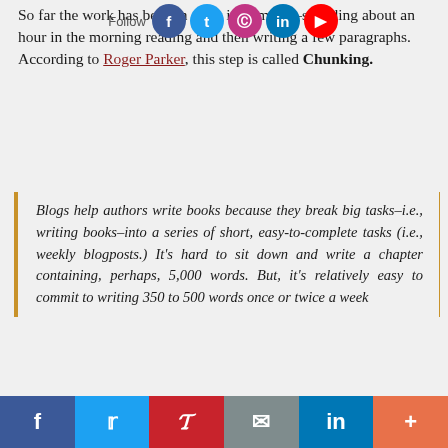So far the work has been in short increments–spending about an hour in the morning reading and then writing a few paragraphs. According to Roger Parker, this step is called Chunking.
Blogs help authors write books because they break big tasks–i.e., writing books–into a series of short, easy-to-complete tasks (i.e., weekly blogposts.) It's hard to sit down and write a chapter containing, perhaps, 5,000 words. But, it's relatively easy to commit to writing 350 to 500 words once or twice a week
Tagging
Here on Blogger the word is "Label," but the idea is to group the post by keywords. This is a neat way to organize my writing into similar buckets of information. As I prepare to write a new article, I can quickly review past work and build on it. Additionally, by allowing the system to count the
f  t  p  ✉  in  +